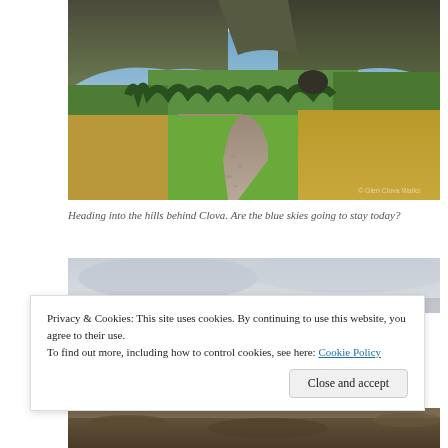[Figure (photo): Landscape photo of a gravel path winding into green hills near Clova, with blue sky and clouds above, green fields, trees, and golden-brown moorland on either side]
Heading into the hills behind Clova. Are the blue skies going to stay today?
[Figure (photo): Partial photo showing a grey overcast sky and muted landscape, partially obscured by the cookie consent banner]
Privacy & Cookies: This site uses cookies. By continuing to use this website, you agree to their use.
To find out more, including how to control cookies, see here: Cookie Policy
[Figure (photo): Bottom partial photo, partially cut off, showing ground-level rocky or earthy terrain]